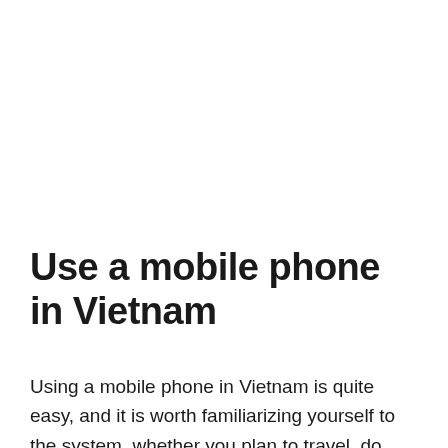Use a mobile phone in Vietnam
Using a mobile phone in Vietnam is quite easy, and it is worth familiarizing yourself to the system, whether you plan to travel, do business or plan your life time here. The three most popular networks in Vietnam are MobiFone, Vinaphone and Vietel